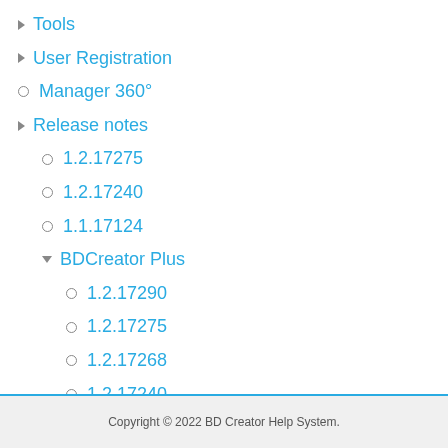▶ Tools
▶ User Registration
○ Manager 360°
▶ Release notes
○ 1.2.17275
○ 1.2.17240
○ 1.1.17124
▼ BDCreator Plus
○ 1.2.17290
○ 1.2.17275
○ 1.2.17268
○ 1.2.17240
○ 1.1.17124
Copyright © 2022 BD Creator Help System.